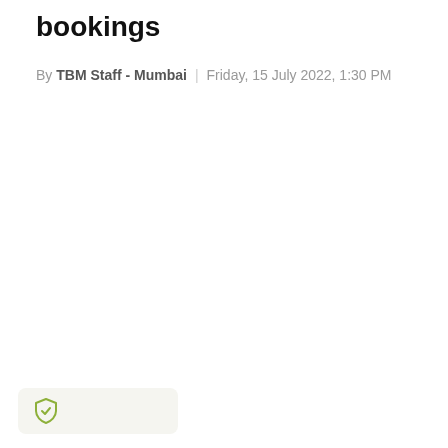bookings
By TBM Staff - Mumbai | Friday, 15 July 2022, 1:30 PM
[Figure (illustration): Shield security badge icon in olive/yellow-green color inside a light grey rounded rectangle at the bottom left of the page]